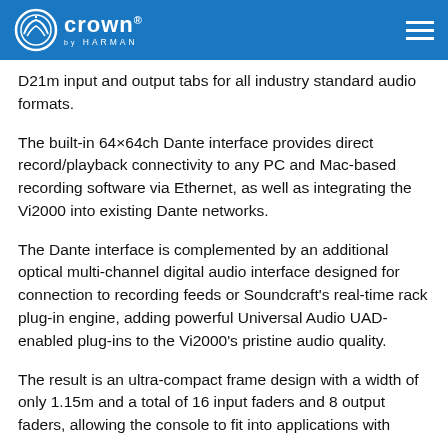Crown by HARMAN
D21m input and output tabs for all industry standard audio formats.
The built-in 64×64ch Dante interface provides direct record/playback connectivity to any PC and Mac-based recording software via Ethernet, as well as integrating the Vi2000 into existing Dante networks.
The Dante interface is complemented by an additional optical multi-channel digital audio interface designed for connection to recording feeds or Soundcraft's real-time rack plug-in engine, adding powerful Universal Audio UAD-enabled plug-ins to the Vi2000's pristine audio quality.
The result is an ultra-compact frame design with a width of only 1.15m and a total of 16 input faders and 8 output faders, allowing the console to fit into applications with